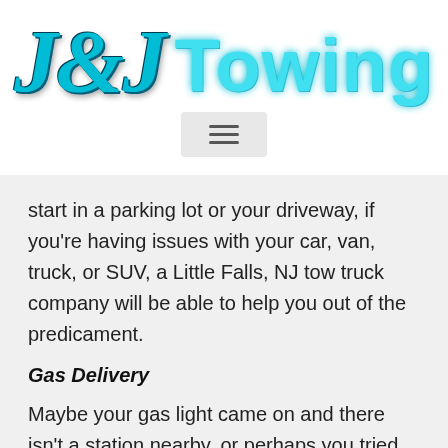[Figure (logo): J&J Towing company logo with stylized serif italic J&J in teal/dark blue and 'Towing' in light cyan bold sans-serif]
start in a parking lot or your driveway, if you're having issues with your car, van, truck, or SUV, a Little Falls, NJ tow truck company will be able to help you out of the predicament.
Gas Delivery
Maybe your gas light came on and there isn't a station nearby, or perhaps you tried to push your car further than it could really go before filling it up, running out of gas is a nuisance, to say the least. If you're out of fuel,